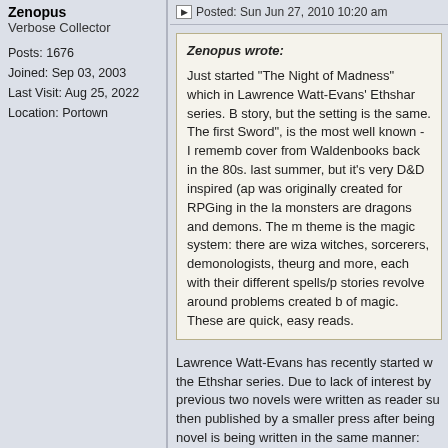Zenopus
Verbose Collector

Posts: 1676
Joined: Sep 03, 2003
Last Visit: Aug 25, 2022
Location: Portown
Posted: Sun Jun 27, 2010 10:20 am
Zenopus wrote:

Just started "The Night of Madness" which in Lawrence Watt-Evans' Ethshar series. But story, but the setting is the same. The first Sword", is the most well known - I rememb cover from Waldenbooks back in the 80s. last summer, but it's very D&D inspired (ap was originally created for RPGing in the la monsters are dragons and demons. The m theme is the magic system: there are wiza witches, sorcerers, demonologists, theurg and more, each with their different spells/p stories revolve around problems created b of magic. These are quick, easy reads.
Lawrence Watt-Evans has recently started w the Ethshar series. Due to lack of interest by previous two novels were written as reader su then published by a smaller press after being novel is being written in the same manner: